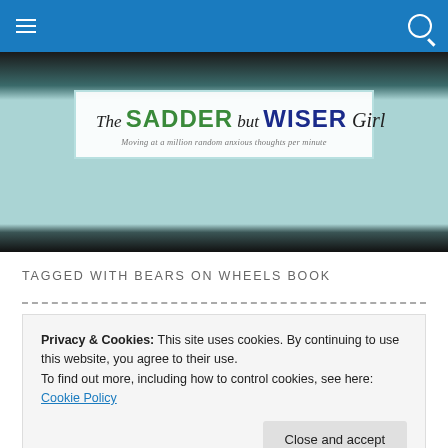The Sadder but Wiser Girl — Moving at a million random anxious thoughts per minute
TAGGED WITH BEARS ON WHEELS BOOK
Privacy & Cookies: This site uses cookies. By continuing to use this website, you agree to their use.
To find out more, including how to control cookies, see here: Cookie Policy
Close and accept